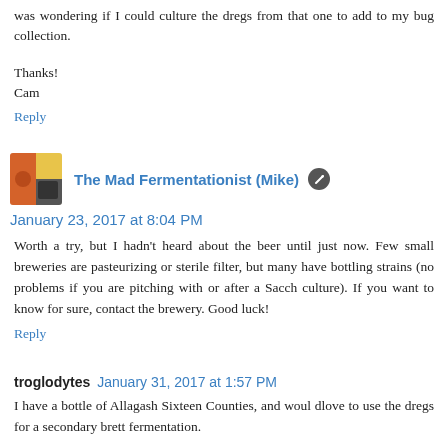was wondering if I could culture the dregs from that one to add to my bug collection.
Thanks!
Cam
Reply
The Mad Fermentationist (Mike) January 23, 2017 at 8:04 PM
Worth a try, but I hadn't heard about the beer until just now. Few small breweries are pasteurizing or sterile filter, but many have bottling strains (no problems if you are pitching with or after a Sacch culture). If you want to know for sure, contact the brewery. Good luck!
Reply
troglodytes January 31, 2017 at 1:57 PM
I have a bottle of Allagash Sixteen Counties, and woul dlove to use the dregs for a secondary brett fermentation.